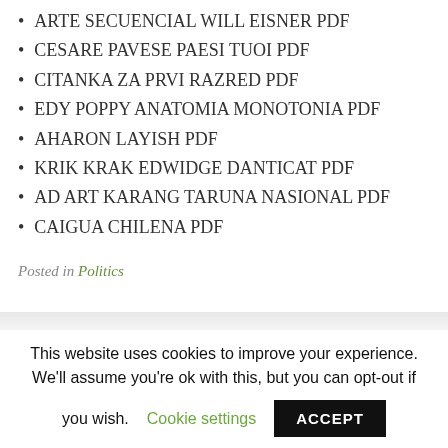ARTE SECUENCIAL WILL EISNER PDF
CESARE PAVESE PAESI TUOI PDF
CITANKA ZA PRVI RAZRED PDF
EDY POPPY ANATOMIA MONOTONIA PDF
AHARON LAYISH PDF
KRIK KRAK EDWIDGE DANTICAT PDF
AD ART KARANG TARUNA NASIONAL PDF
CAIGUA CHILENA PDF
Posted in Politics
This website uses cookies to improve your experience. We'll assume you're ok with this, but you can opt-out if you wish. Cookie settings ACCEPT